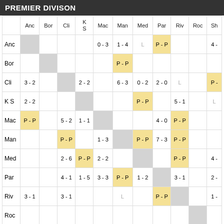PREMIER DIVISON
|  | Anc | Bor | Cli | K S | Mac | Man | Med | Par | Riv | Roc | Sh |
| --- | --- | --- | --- | --- | --- | --- | --- | --- | --- | --- | --- |
| Anc |  |  |  |  | 0 - 3 | 1 - 4 | L | P - P |  |  | 4 - |
| Bor |  |  |  |  |  | P - P |  |  |  |  |  |
| Cli | 3 - 2 |  |  | 2 - 2 |  | 6 - 3 | 0 - 2 | 2 - 0 | L |  | P - |
| K S | 2 - 2 |  |  |  |  |  | P - P |  | 5 - 1 |  | L |
| Mac | P - P |  | 5 - 2 | 1 - 1 |  |  |  | 4 - 0 | P - P |  |  |
| Man |  |  | P - P |  | 1 - 3 |  | P - P | 7 - 3 | P - P |  |  |
| Med |  |  | 2 - 6 | P - P | 2 - 2 |  |  |  | P - P |  | 4 - |
| Par |  |  | 4 - 1 | 1 - 5 | 3 - 3 | P - P | 1 - 2 |  | 3 - 1 |  | 2 - |
| Riv | 3 - 1 |  | 3 - 1 |  |  | L |  | P - P |  |  | 1 - |
| Roc |  |  |  |  |  |  |  |  |  |  |  |